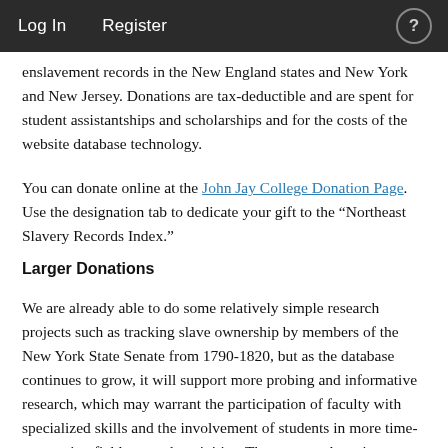Log In   Register
enslavement records in the New England states and New York and New Jersey. Donations are tax-deductible and are spent for student assistantships and scholarships and for the costs of the website database technology.
You can donate online at the John Jay College Donation Page. Use the designation tab to dedicate your gift to the “Northeast Slavery Records Index.”
Larger Donations
We are already able to do some relatively simple research projects such as tracking slave ownership by members of the New York State Senate from 1790-1820, but as the database continues to grow, it will support more probing and informative research, which may warrant the participation of faculty with specialized skills and the involvement of students in more time-consuming field research activities. These research projects would advance